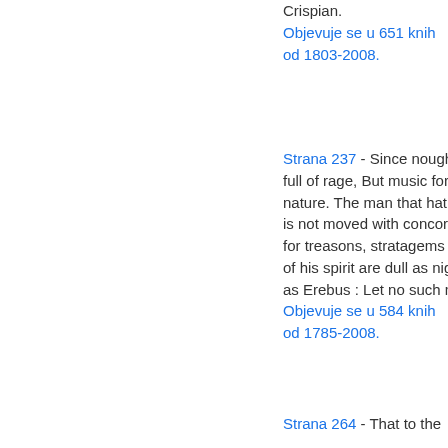Crispian. Objevuje se u 651 knih od 1803-2008.
Strana 237 - Since nought so stockish, hard and full of rage, But music for the time doth change his nature. The man that hath no music in himself, Nor is not moved with concord of sweet sounds, Is fit for treasons, stratagems and spoils ; The motions of his spirit are dull as night And his affections dark as Erebus : Let no such man be trusted. Objevuje se u 584 knih od 1785-2008.
Strana 264 - That to the